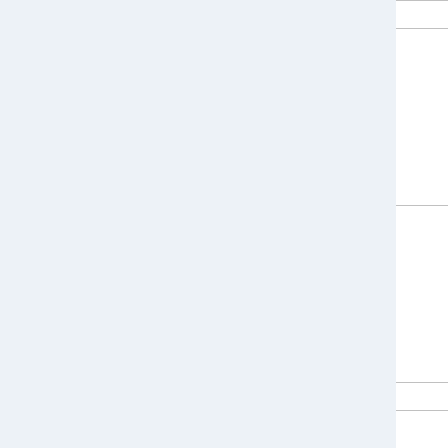| Date | Session | Extra |
| --- | --- | --- |
|  | Computing |  |
| Wednesday, August 1, 2017 | Distributed-Memory Programming With MPI
Hartmut Schmider, Centre for Advanced Computing | HPC with Python
Jeff Staffe
Centre for Advanced Computing |
| Thursday, August 2, 2017 | Distributed-Memory Programming With MPI
Hartmut Schmider, Centre for Advanced Computing | Parallel Programming with R
Jeff Staffe
Centre for Advanced Computing |
|  | Programming... | Parallel... |